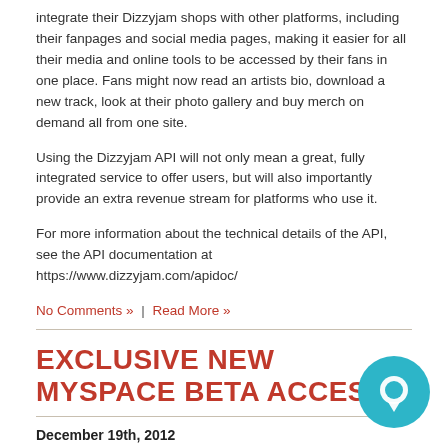integrate their Dizzyjam shops with other platforms, including their fanpages and social media pages, making it easier for all their media and online tools to be accessed by their fans in one place. Fans might now read an artists bio, download a new track, look at their photo gallery and buy merch on demand all from one site.
Using the Dizzyjam API will not only mean a great, fully integrated service to offer users, but will also importantly provide an extra revenue stream for platforms who use it.
For more information about the technical details of the API, see the API documentation at https://www.dizzyjam.com/apidoc/
No Comments » | Read More »
EXCLUSIVE NEW MYSPACE BETA ACCESS
December 19th, 2012
How to get your exclusive invite at the bottom of the page...